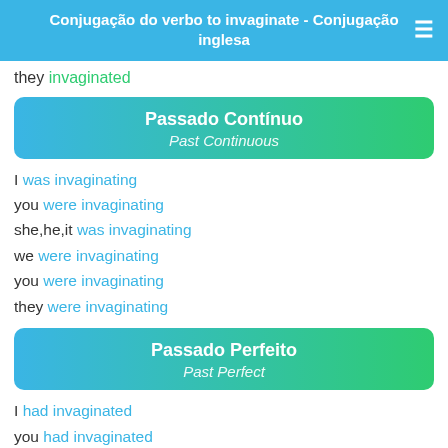Conjugação do verbo to invaginate - Conjugação inglesa
they invaginated
Passado Contínuo / Past Continuous
I was invaginating
you were invaginating
she,he,it was invaginating
we were invaginating
you were invaginating
they were invaginating
Passado Perfeito / Past Perfect
I had invaginated
you had invaginated
she,he,it had invaginated
we had invaginated